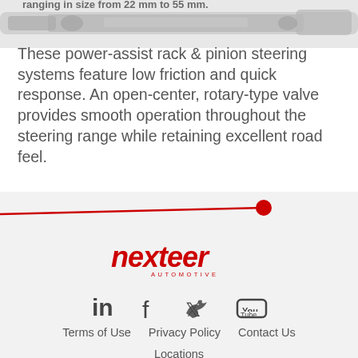[Figure (photo): Partial view of a power-assist rack and pinion steering assembly component, greyscale/silver toned product photo]
These power-assist rack & pinion steering systems feature low friction and quick response. An open-center, rotary-type valve provides smooth operation throughout the steering range while retaining excellent road feel.
[Figure (illustration): Red diagonal line with a red circle endpoint, decorative divider element]
[Figure (logo): Nexteer Automotive logo in red italic script font]
[Figure (infographic): Social media icons: LinkedIn, Facebook, Twitter, YouTube]
Terms of Use   Privacy Policy   Contact Us   Locations